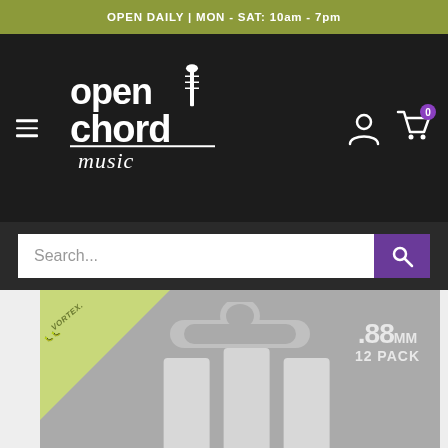OPEN DAILY | MON - SAT: 10am - 7pm
[Figure (logo): Open Chord Music store logo with guitar graphic, white text on dark background, with hamburger menu icon and user/cart icons]
Search...
[Figure (photo): Vortex guitar picks product packaging - grey card with green triangle corner showing Vortex logo, hanger slot, .88mm 12 PACK label, and three guitar picks visible]